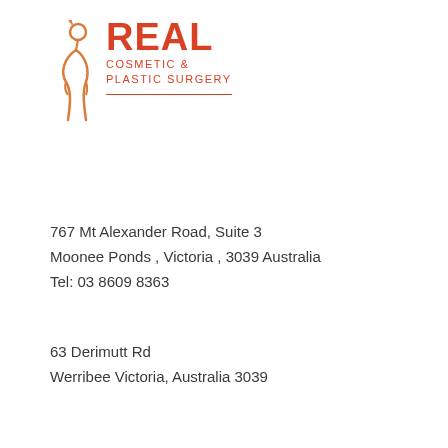[Figure (logo): Real Cosmetic & Plastic Surgery logo with a stylized female silhouette in orange/red and the text REAL in bold red, COSMETIC & PLASTIC SURGERY in smaller red letters, with a red underline]
767 Mt Alexander Road, Suite 3
Moonee Ponds , Victoria , 3039 Australia
Tel: 03 8609 8363
63 Derimutt Rd
Werribee Victoria, Australia 3039